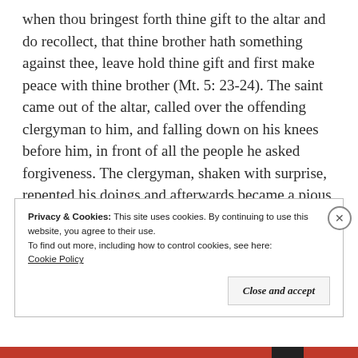when thou bringest forth thine gift to the altar and do recollect, that thine brother hath something against thee, leave hold thine gift and first make peace with thine brother (Mt. 5: 23-24). The saint came out of the altar, called over the offending clergyman to him, and falling down on his knees before him, in front of all the people he asked forgiveness. The clergyman, shaken with surprise, repented his doings and afterwards became a pious priest.
	Likewise there was a time when a certain
Privacy & Cookies: This site uses cookies. By continuing to use this website, you agree to their use.
To find out more, including how to control cookies, see here:
Cookie Policy
Close and accept